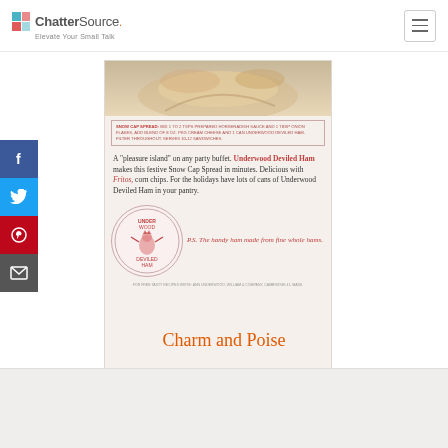ChatterSource - Elevate Your Small Talk
[Figure (illustration): Vintage Underwood Deviled Ham advertisement clipping showing a snow cap spread on a buffet, with brand logo and P.S. note about 'the handy ham made from fine whole hams']
A "pleasure island" on any party buffet. Underwood Deviled Ham makes this festive Snow Cap Spread in minutes. Delicious with Fritos corn chips. For the holidays have lots of cans of Underwood Deviled Ham in your pantry.
P.S. The handy ham made from fine whole hams.
Charm and Poise